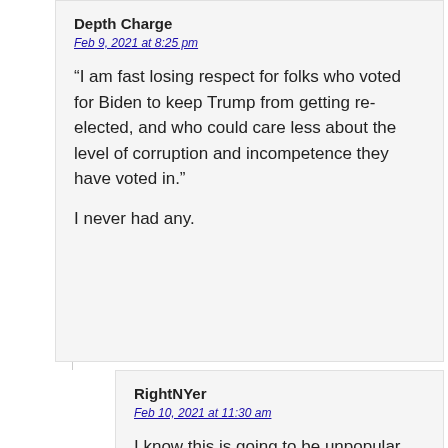Depth Charge
Feb 9, 2021 at 8:25 pm
“I am fast losing respect for folks who voted for Biden to keep Trump from getting re-elected, and who could care less about the level of corruption and incompetence they have voted in.”

I never had any.
RightNYer
Feb 10, 2021 at 11:30 am
I know this is going to be unpopular, but that’s the problem with universal franchise. A lot of people end up voting